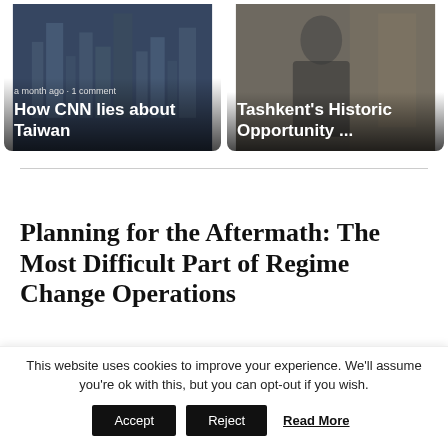[Figure (screenshot): News article card: city skyline background, text 'a month ago · 1 comment' and title 'How CNN lies about Taiwan']
[Figure (screenshot): News article card: person in suit background, title 'Tashkent's Historic Opportunity ...']
INTELLIGENCE
Planning for the Aftermath: The Most Difficult Part of Regime Change Operations
Published 3 days ago on August 29, 2022
By Alan Cunningham
This website uses cookies to improve your experience. We'll assume you're ok with this, but you can opt-out if you wish.